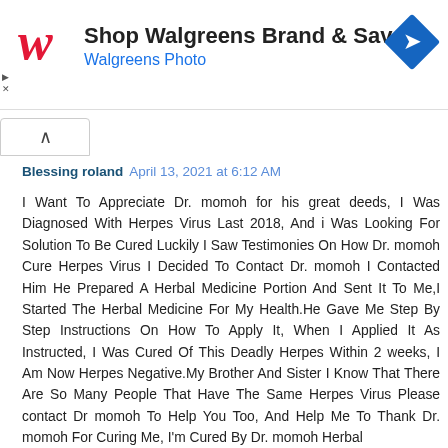[Figure (screenshot): Walgreens advertisement banner with red italic W logo, text 'Shop Walgreens Brand & Save' and 'Walgreens Photo', and a blue diamond-shaped road sign icon]
Blessing roland April 13, 2021 at 6:12 AM
I Want To Appreciate Dr. momoh for his great deeds, I Was Diagnosed With Herpes Virus Last 2018, And i Was Looking For Solution To Be Cured Luckily I Saw Testimonies On How Dr. momoh Cure Herpes Virus I Decided To Contact Dr. momoh I Contacted Him He Prepared A Herbal Medicine Portion And Sent It To Me,I Started The Herbal Medicine For My Health.He Gave Me Step By Step Instructions On How To Apply It, When I Applied It As Instructed, I Was Cured Of This Deadly Herpes Within 2 weeks, I Am Now Herpes Negative.My Brother And Sister I Know That There Are So Many People That Have The Same Herpes Virus Please contact Dr momoh To Help You Too, And Help Me To Thank Dr. momoh For Curing Me, I'm Cured By Dr. momoh Herbal